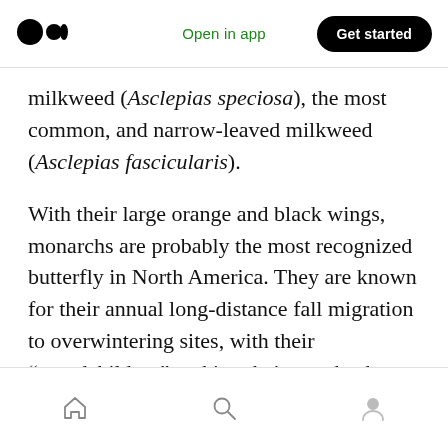Open in app | Get started
milkweed (Asclepias speciosa), the most common, and narrow-leaved milkweed (Asclepias fascicularis).
With their large orange and black wings, monarchs are probably the most recognized butterfly in North America. They are known for their annual long-distance fall migration to overwintering sites, with their “grandchildren” making their way back to northern breeding habitats in the spring.
Home | Search | Profile